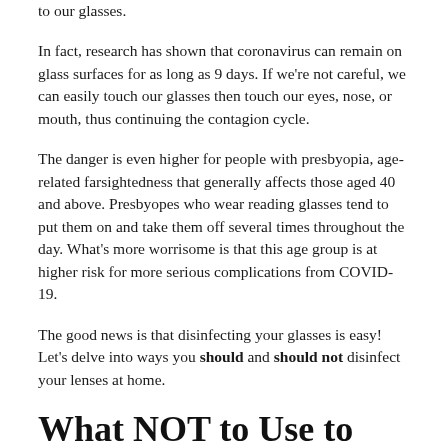to our glasses.
In fact, research has shown that coronavirus can remain on glass surfaces for as long as 9 days. If we're not careful, we can easily touch our glasses then touch our eyes, nose, or mouth, thus continuing the contagion cycle.
The danger is even higher for people with presbyopia, age-related farsightedness that generally affects those aged 40 and above. Presbyopes who wear reading glasses tend to put them on and take them off several times throughout the day. What's more worrisome is that this age group is at higher risk for more serious complications from COVID-19.
The good news is that disinfecting your glasses is easy! Let's delve into ways you should and should not disinfect your lenses at home.
What NOT to Use to Cleanse Your Glasses
Many of us may have rubbing-alcohol at home, and although it may